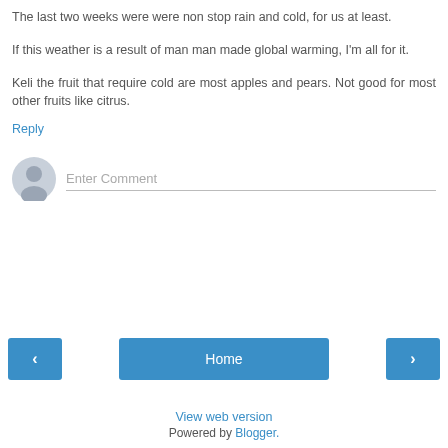The last two weeks were were non stop rain and cold, for us at least.
If this weather is a result of man man made global warming, I'm all for it.
Keli the fruit that require cold are most apples and pears. Not good for most other fruits like citrus.
Reply
[Figure (other): User avatar placeholder icon (grey silhouette)]
Enter Comment
< Home >
View web version
Powered by Blogger.